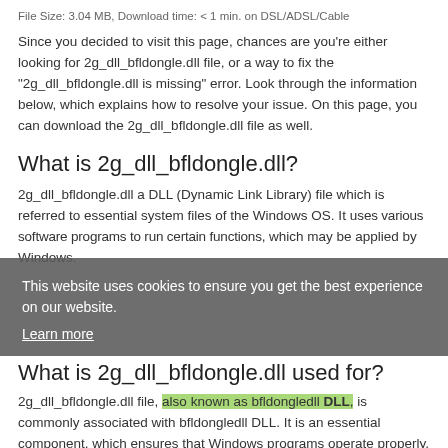File Size: 3.04 MB, Download time: < 1 min. on DSL/ADSL/Cable
Since you decided to visit this page, chances are you're either looking for 2g_dll_bfldongle.dll file, or a way to fix the "2g_dll_bfldongle.dll is missing" error. Look through the information below, which explains how to resolve your issue. On this page, you can download the 2g_dll_bfldongle.dll file as well.
What is 2g_dll_bfldongle.dll?
2g_dll_bfldongle.dll a DLL (Dynamic Link Library) file which is referred to essential system files of the Windows OS. It us[es] various software programs to run certain functions, which may be applied by Windows.
This website uses cookies to ensure you get the best experience on our website.
Learn more
What is 2g_dll_bfldongle.dll used for?
2g_dll_bfldongle.dll file, also known as bfldongledll DLL, is commonly associated with bfldongledll DLL. It is an essential component, which ensures that Windows programs operate properly. Thus, if the 2g_dll_bfldongle.dll file is missing, it may